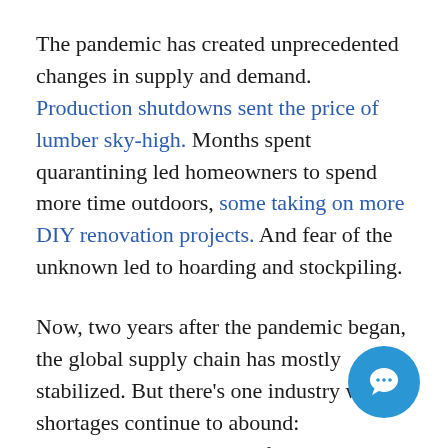The pandemic has created unprecedented changes in supply and demand. Production shutdowns sent the price of lumber sky-high. Months spent quarantining led homeowners to spend more time outdoors, some taking on more DIY renovation projects. And fear of the unknown led to hoarding and stockpiling.
Now, two years after the pandemic began, the global supply chain has mostly stabilized. But there's one industry where shortages continue to abound: semiconductor chip manufacturing. In 2022, the latest reports from experts say the shortage will last until at least the second half of the year.